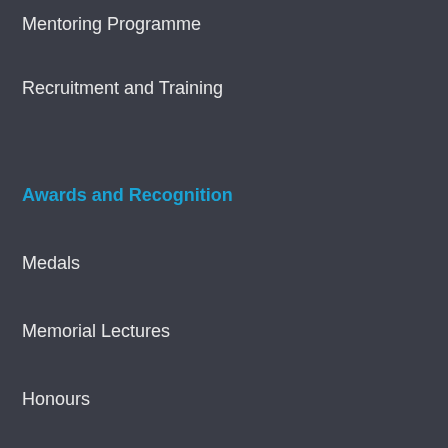Mentoring Programme
Recruitment and Training
Awards and Recognition
Medals
Memorial Lectures
Honours